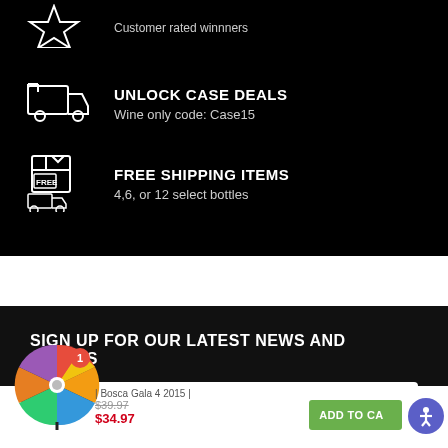Customer rated winners
UNLOCK CASE DEALS
Wine only code: Case15
FREE SHIPPING ITEMS
4,6, or 12 select bottles
SIGN UP FOR OUR LATEST NEWS AND OFFERS
r your email addresss
| Bosca Gala 4 2015 |
$39.97
$34.97
ADD TO CAR